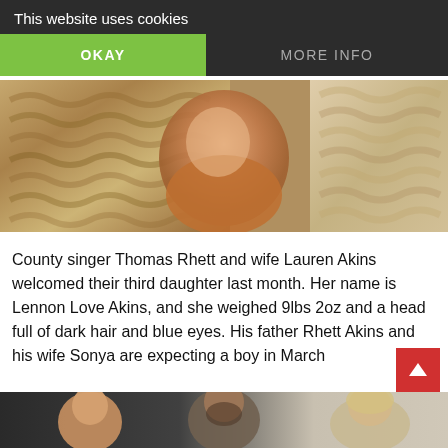This website uses cookies
OKAY
MORE INFO
[Figure (photo): Close-up photo of a newborn baby wrapped in a chunky knit blanket with warm brown and cream tones]
County singer Thomas Rhett and wife Lauren Akins welcomed their third daughter last month. Her name is Lennon Love Akins, and she weighed 9lbs 2oz and a head full of dark hair and blue eyes. His father Rhett Akins and his wife Sonya are expecting a boy in March
[Figure (photo): A man with a beard and a young child with light brown hair smiling, with a woman with blonde hair on the right side, indoors]